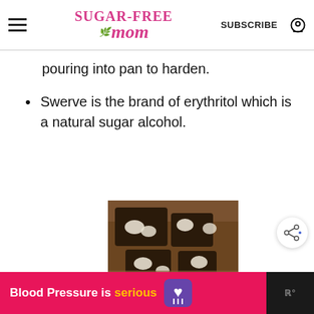Sugar-Free Mom | SUBSCRIBE
pouring into pan to harden.
Swerve is the brand of erythritol which is a natural sugar alcohol.
[Figure (photo): Chocolate fudge pieces with cashews on a wooden cutting board]
Blood Pressure is serious